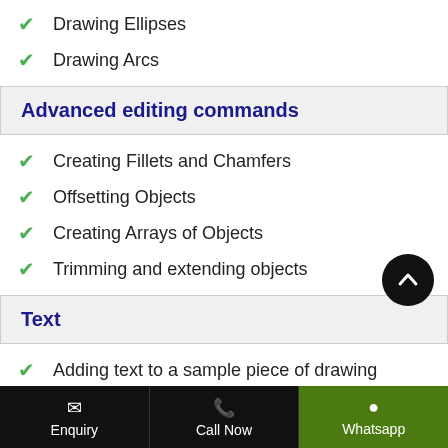Drawing Ellipses
Drawing Arcs
Advanced editing commands
Creating Fillets and Chamfers
Offsetting Objects
Creating Arrays of Objects
Trimming and extending objects
Text
Adding text to a sample piece of drawing
Modifying the multiline text
Creating tables
Changing tables
Enquiry | Call Now | Whatsapp